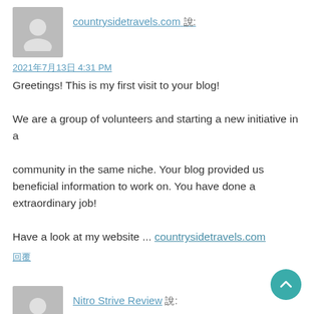[Figure (illustration): Gray placeholder avatar icon for commenter countrysidetravels.com]
countrysidetravels.com 說:
2021年7月13日 4:31 PM
Greetings! This is my first visit to your blog!

We are a group of volunteers and starting a new initiative in a

community in the same niche. Your blog provided us beneficial information to work on. You have done a extraordinary job!

Have a look at my website ... countrysidetravels.com
回覆
[Figure (illustration): Gray placeholder avatar icon for commenter Nitro Strive Review]
Nitro Strive Review 說:
2021年7月13日 4:48 PM
Absolutely written articles. Really enjoyed examining.